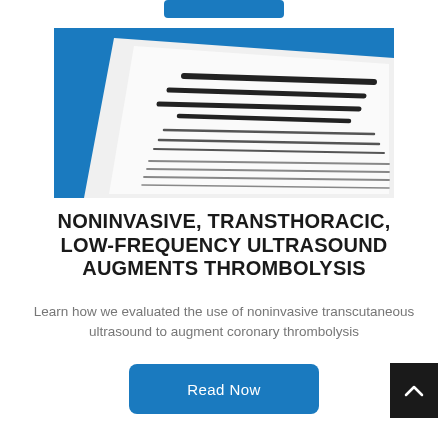[Figure (photo): Photo of a printed journal article titled 'Noninvasive, Transthoracic, Low-Frequency Ultrasound Augments Thrombolysis in a Canine Model of Acute Myocardial Infarction', showing the paper with blue background]
NONINVASIVE, TRANSTHORACIC, LOW-FREQUENCY ULTRASOUND AUGMENTS THROMBOLYSIS
Learn how we evaluated the use of noninvasive transcutaneous ultrasound to augment coronary thrombolysis